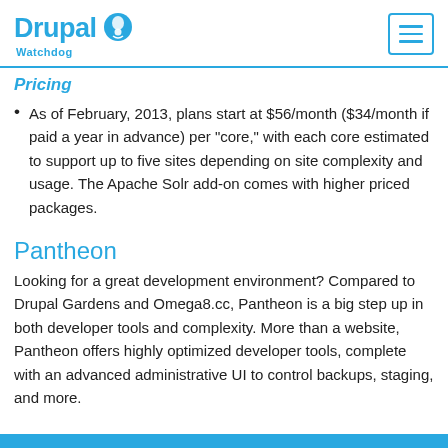Drupal Watchdog
Pricing
As of February, 2013, plans start at $56/month ($34/month if paid a year in advance) per “core,” with each core estimated to support up to five sites depending on site complexity and usage. The Apache Solr add-on comes with higher priced packages.
Pantheon
Looking for a great development environment? Compared to Drupal Gardens and Omega8.cc, Pantheon is a big step up in both developer tools and complexity. More than a website, Pantheon offers highly optimized developer tools, complete with an advanced administrative UI to control backups, staging, and more.